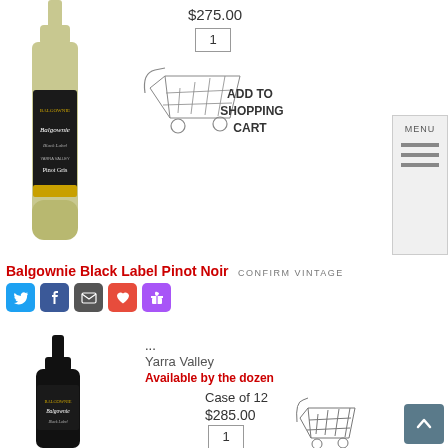[Figure (photo): White wine bottle - Balgownie Black Label Pinot Gris, Yarra Valley]
$275.00
1
[Figure (illustration): Shopping cart icon with ADD TO SHOPPING CART text]
[Figure (other): MENU sidebar with three horizontal lines]
Balgownie Black Label Pinot Noir CONFIRM VINTAGE
[Figure (other): Social sharing icons: Twitter, Facebook, Email, Heart, Gift]
[Figure (photo): Red wine bottle - Balgownie Black Label Pinot Noir]
...
Yarra Valley
Available by the dozen
Case of 12
$285.00
1